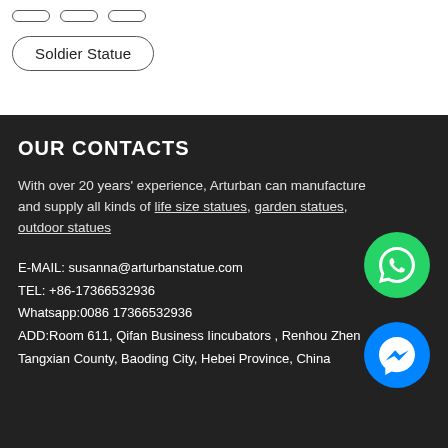Soldier Statue
OUR CONTACTS
With over 20 years' experience, Arturban can manufacture and supply all kinds of life size statues, garden statues, outdoor statues
E-MAIL: susanna@arturbanstatue.com
TEL: +86-17366532936
Whatsapp:0086 17366532936
ADD:Room 611, Qifan Business Iincubators , Renhou Zhen, Tangxian County, Baoding City, Hebei Province, China